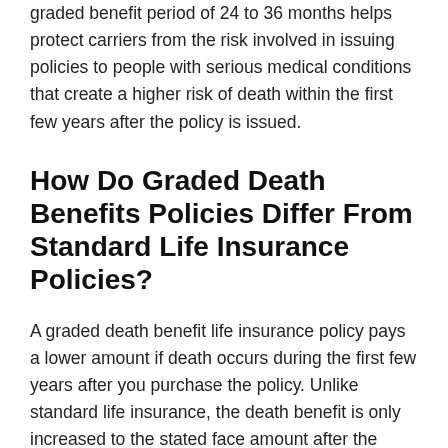graded benefit period of 24 to 36 months helps protect carriers from the risk involved in issuing policies to people with serious medical conditions that create a higher risk of death within the first few years after the policy is issued.
How Do Graded Death Benefits Policies Differ From Standard Life Insurance Policies?
A graded death benefit life insurance policy pays a lower amount if death occurs during the first few years after you purchase the policy. Unlike standard life insurance, the death benefit is only increased to the stated face amount after the policy has been in